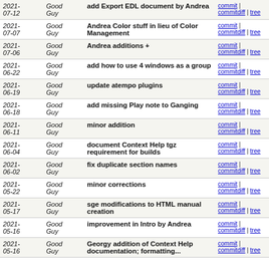| Date | Author | Message | Links |
| --- | --- | --- | --- |
| 2021-07-12 | Good Guy | add Export EDL document by Andrea | commit | commitdiff | tree |
| 2021-07-07 | Good Guy | Andrea Color stuff in lieu of Color Management | commit | commitdiff | tree |
| 2021-07-06 | Good Guy | Andrea additions + | commit | commitdiff | tree |
| 2021-06-22 | Good Guy | add how to use 4 windows as a group | commit | commitdiff | tree |
| 2021-06-19 | Good Guy | update atempo plugins | commit | commitdiff | tree |
| 2021-06-18 | Good Guy | add missing Play note to Ganging | commit | commitdiff | tree |
| 2021-06-11 | Good Guy | minor addition | commit | commitdiff | tree |
| 2021-06-04 | Good Guy | document Context Help tgz requirement for builds | commit | commitdiff | tree |
| 2021-06-02 | Good Guy | fix duplicate section names | commit | commitdiff | tree |
| 2021-05-22 | Good Guy | minor corrections | commit | commitdiff | tree |
| 2021-05-17 | Good Guy | sge modifications to HTML manual creation | commit | commitdiff | tree |
| 2021-05-16 | Good Guy | improvement in Intro by Andrea | commit | commitdiff | tree |
| 2021-05-16 | Good Guy | Georgy addition of Context Help documentation; formatting... | commit | commitdiff | tree |